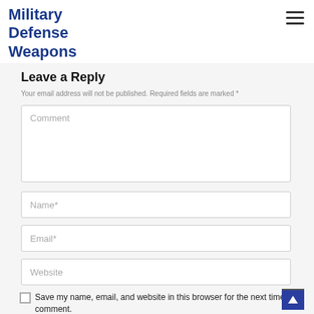Military Defense Weapons
Leave a Reply
Your email address will not be published. Required fields are marked *
Comment
Name*
Email*
Website
Save my name, email, and website in this browser for the next time I comment.
Post Comment